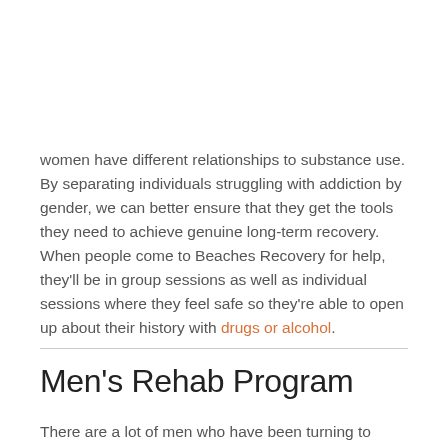women have different relationships to substance use. By separating individuals struggling with addiction by gender, we can better ensure that they get the tools they need to achieve genuine long-term recovery. When people come to Beaches Recovery for help, they'll be in group sessions as well as individual sessions where they feel safe so they're able to open up about their history with drugs or alcohol.
Men's Rehab Program
There are a lot of men who have been turning to drugs or